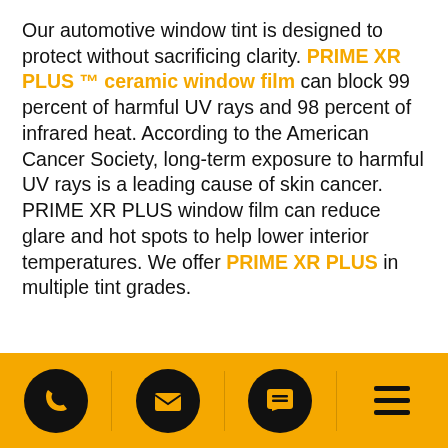Our automotive window tint is designed to protect without sacrificing clarity. PRIME XR PLUS ™ ceramic window film can block 99 percent of harmful UV rays and 98 percent of infrared heat. According to the American Cancer Society, long-term exposure to harmful UV rays is a leading cause of skin cancer. PRIME XR PLUS window film can reduce glare and hot spots to help lower interior temperatures. We offer PRIME XR PLUS in multiple tint grades.
CONTACT US TODAY!
[Figure (infographic): Yellow footer bar with four icon buttons: phone (circle with phone icon), email (circle with envelope icon), chat (circle with speech bubble/lines icon), and hamburger menu (three horizontal lines). Dividers between each icon.]